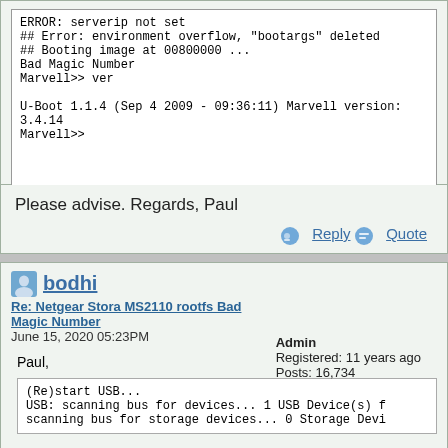## Error: environment overflow, "bootargs" deleted
## Booting image at 00800000 ...
Bad Magic Number
Marvell>> ver

U-Boot 1.1.4 (Sep 4 2009 - 09:36:11) Marvell version: 3.4.14
Marvell>>
Please advise. Regards, Paul
Reply  Quote
bodhi
Admin
Registered: 11 years ago
Posts: 16,734
Re: Netgear Stora MS2110 rootfs Bad Magic Number
June 15, 2020 05:23PM
Paul,
(Re)start USB...
USB: scanning bus for devices... 1 USB Device(s) f
scanning bus for storage devices... 0 Storage Devi